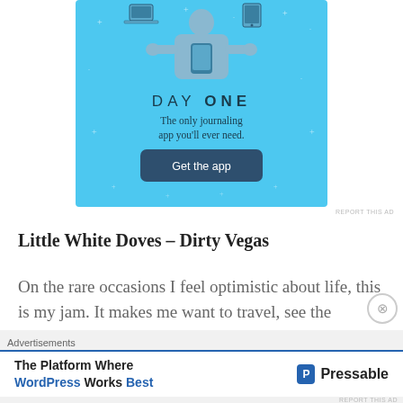[Figure (illustration): Day One journaling app advertisement with blue background, person illustration, 'DAY ONE' text, tagline 'The only journaling app you'll ever need.', and a 'Get the app' button.]
REPORT THIS AD
Little White Doves – Dirty Vegas
On the rare occasions I feel optimistic about life, this is my jam. It makes me want to travel, see the
[Figure (illustration): Pressable advertisement banner: 'The Platform Where WordPress Works Best' with Pressable logo]
REPORT THIS AD